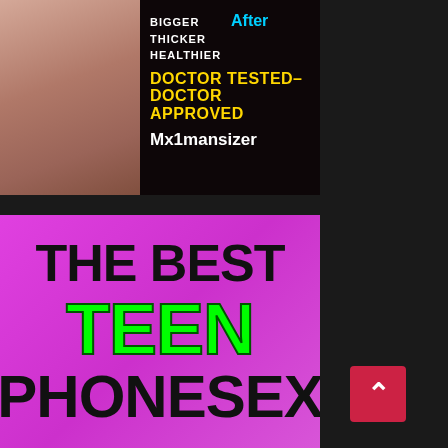[Figure (advertisement): Ad for Mx1mansizer product showing before/after with text: BIGGER THICKER HEALTHIER, After, DOCTOR TESTED- DOCTOR APPROVED, Mx1mansizer]
[Figure (advertisement): Ad with pink/magenta background showing text: THE BEST TEEN PHONESEX in large bold letters]
[Figure (other): Back-to-top button, red square with white upward chevron arrow]